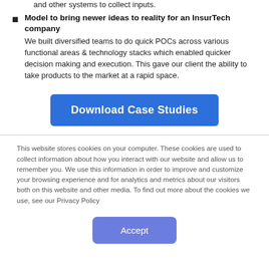and other systems to collect inputs.
Model to bring newer ideas to reality for an InsurTech company
We built diversified teams to do quick POCs across various functional areas & technology stacks which enabled quicker decision making and execution. This gave our client the ability to take products to the market at a rapid space.
[Figure (other): Blue 'Download Case Studies' button]
This website stores cookies on your computer. These cookies are used to collect information about how you interact with our website and allow us to remember you. We use this information in order to improve and customize your browsing experience and for analytics and metrics about our visitors both on this website and other media. To find out more about the cookies we use, see our Privacy Policy
[Figure (other): Blue-purple 'Accept' button]